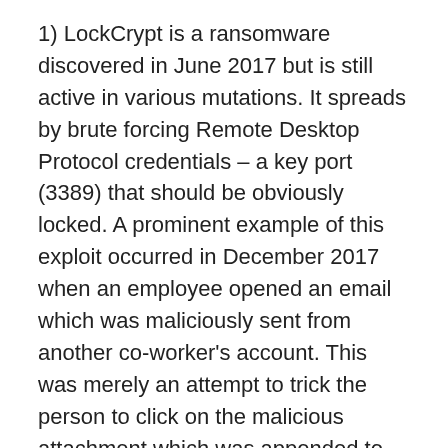1) LockCrypt is a ransomware discovered in June 2017 but is still active in various mutations. It spreads by brute forcing Remote Desktop Protocol credentials – a key port (3389) that should be obviously locked. A prominent example of this exploit occurred in December 2017 when an employee opened an email which was maliciously sent from another co-worker's account. This was merely an attempt to trick the person to click on the malicious attachment which was appended to the letter. Once it was opened, the ransomware download began after which 48 out of 500 servers of North Carolina County were compromised with LockCrypt (Ugnius Kiguolis, Spyware.com, 12/11/17).
As per Bitdefender, this ransomware family has several sub-variants with the following specific extensions, the first (.1btc) is decryptable with this free Bitdefender tool and